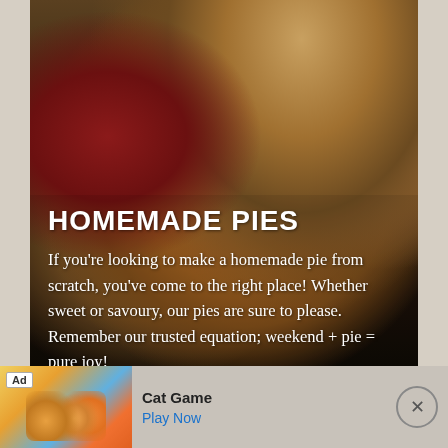[Figure (photo): Close-up photograph of a homemade apple pie slice with a scoop of ice cream on top, on a dark plate. In the background, a whole apple pie in a glass dish and a red apple are visible on a dark wooden surface.]
HOMEMADE PIES
If you're looking to make a homemade pie from scratch, you've come to the right place! Whether sweet or savoury, our pies are sure to please. Remember our trusted equation; weekend + pie = pure joy!
[Figure (infographic): Advertisement banner for 'Cat Game' showing cartoon cat characters on a colorful background with an 'Ad' label, the game name 'Cat Game', a 'Play Now' button, and an X close button.]